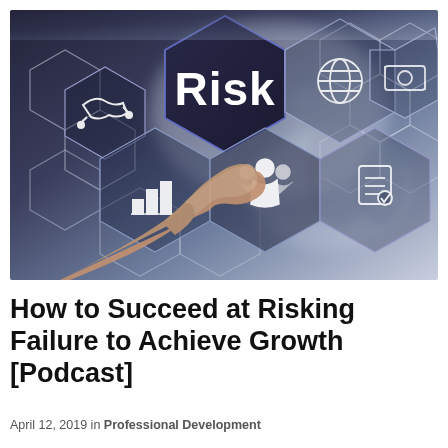[Figure (photo): Business professional pointing at a hexagonal digital interface showing risk management icons including handshake, globe, money, chart, people, and document icons. The central dark hexagon prominently displays the word 'Risk' in white bold text. Background shows blurred office environment.]
How to Succeed at Risking Failure to Achieve Growth [Podcast]
April 12, 2019 in Professional Development